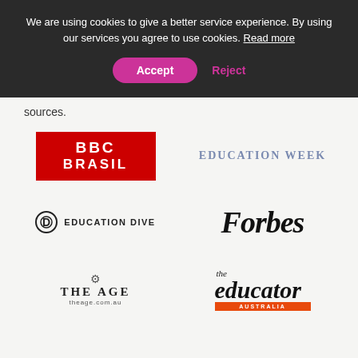We are using cookies to give a better service experience. By using our services you agree to use cookies. Read more
Accept
Reject
sources.
[Figure (logo): BBC Brasil logo — white text on red background, reads 'BBC BRASIL']
[Figure (logo): Education Week logo — blue-grey serif small-caps text]
[Figure (logo): Education Dive logo — circular icon with letter D and uppercase sans-serif text]
[Figure (logo): Forbes logo — large bold serif italic text]
[Figure (logo): The Age logo — crest icon above uppercase serif text with theage.com.au]
[Figure (logo): The Educator Australia logo — italic serif text with orange bar reading AUSTRALIA]